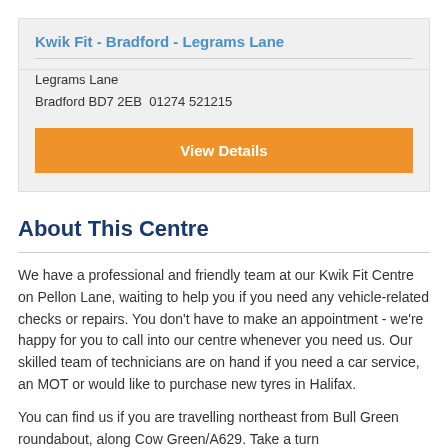Kwik Fit - Bradford - Legrams Lane
Legrams Lane
Bradford BD7 2EB 01274 521215
View Details
About This Centre
We have a professional and friendly team at our Kwik Fit Centre on Pellon Lane, waiting to help you if you need any vehicle-related checks or repairs. You don't have to make an appointment - we're happy for you to call into our centre whenever you need us. Our skilled team of technicians are on hand if you need a car service, an MOT or would like to purchase new tyres in Halifax.
You can find us if you are travelling northeast from Bull Green roundabout, along Cow Green/A629. Take a turn